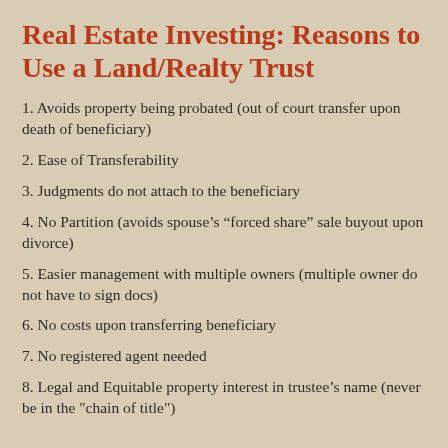Real Estate Investing: Reasons to Use a Land/Realty Trust
1. Avoids property being probated (out of court transfer upon death of beneficiary)
2. Ease of Transferability
3. Judgments do not attach to the beneficiary
4. No Partition (avoids spouse’s “forced share” sale buyout upon divorce)
5. Easier management with multiple owners (multiple owner do not have to sign docs)
6. No costs upon transferring beneficiary
7. No registered agent needed
8. Legal and Equitable property interest in trustee’s name (never be in the "chain of title")